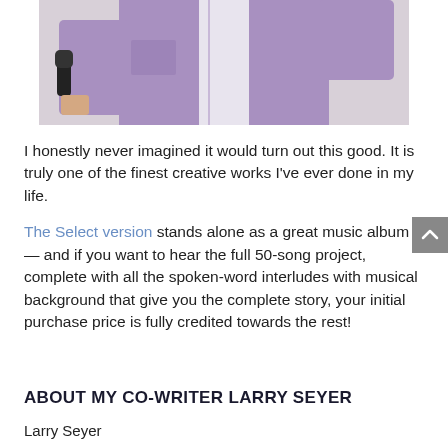[Figure (photo): Person in a purple/lavender button-up shirt holding a microphone, photographed from the torso up against a light grey background. Only the body (no head visible) is shown in this cropped view.]
I honestly never imagined it would turn out this good. It is truly one of the finest creative works I've ever done in my life.
The Select version stands alone as a great music album — and if you want to hear the full 50-song project, complete with all the spoken-word interludes with musical background that give you the complete story, your initial purchase price is fully credited towards the rest!
ABOUT MY CO-WRITER LARRY SEYER
Larry Seyer...